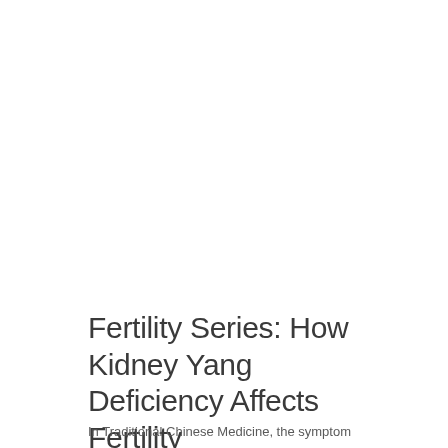Fertility Series: How Kidney Yang Deficiency Affects Fertility
In Traditional Chinese Medicine, the symptom